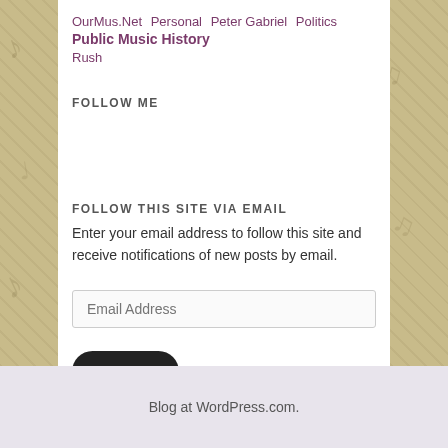OurMus.Net  Personal  Peter Gabriel  Politics  Public Music History  Rush
FOLLOW ME
FOLLOW THIS SITE VIA EMAIL
Enter your email address to follow this site and receive notifications of new posts by email.
Blog at WordPress.com.